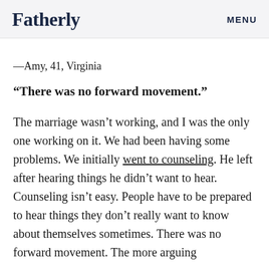Fatherly   MENU
—Amy, 41, Virginia
“There was no forward movement.”
The marriage wasn’t working, and I was the only one working on it. We had been having some problems. We initially went to counseling. He left after hearing things he didn’t want to hear. Counseling isn’t easy. People have to be prepared to hear things they don’t really want to know about themselves sometimes. There was no forward movement. The more arguing